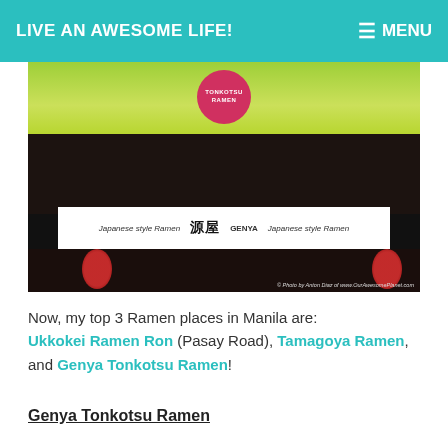LIVE AN AWESOME LIFE! MENU
[Figure (photo): Night photo of Genya Tonkotsu Ramen restaurant facade showing illuminated sign reading 'Japanese style Ramen GENYA' with red lanterns and a Tonkotsu Ramen advertisement banner at top. Photo credit: Anton Diaz of www.OurAwesomePlanet.com]
Now, my top 3 Ramen places in Manila are: Ukkokei Ramen Ron (Pasay Road), Tamagoya Ramen, and Genya Tonkotsu Ramen!
Genya Tonkotsu Ramen